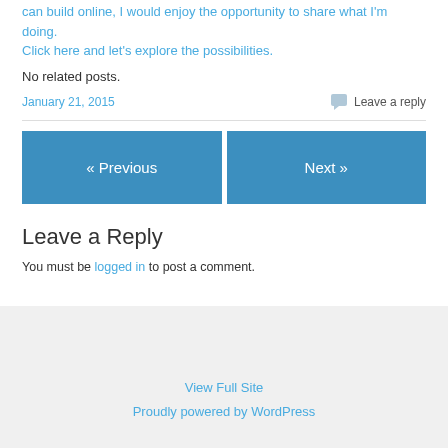can build online, I would enjoy the opportunity to share what I'm doing. Click here and let's explore the possibilities.
No related posts.
January 21, 2015
Leave a reply
« Previous
Next »
Leave a Reply
You must be logged in to post a comment.
View Full Site
Proudly powered by WordPress